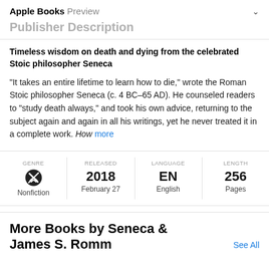Apple Books Preview
Publisher Description
Timeless wisdom on death and dying from the celebrated Stoic philosopher Seneca
"It takes an entire lifetime to learn how to die," wrote the Roman Stoic philosopher Seneca (c. 4 BC–65 AD). He counseled readers to "study death always," and took his own advice, returning to the subject again and again in all his writings, yet he never treated it in a complete work. How more
| GENRE | RELEASED | LANGUAGE | LENGTH |
| --- | --- | --- | --- |
| Nonfiction | 2018
February 27 | EN
English | 256
Pages |
More Books by Seneca & James S. Romm